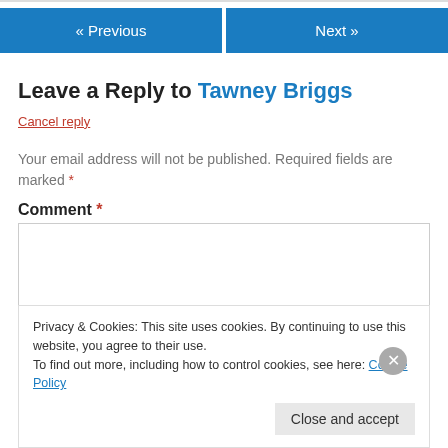« Previous    Next »
Leave a Reply to Tawney Briggs
Cancel reply
Your email address will not be published. Required fields are marked *
Comment *
Privacy & Cookies: This site uses cookies. By continuing to use this website, you agree to their use.
To find out more, including how to control cookies, see here: Cookie Policy
Close and accept